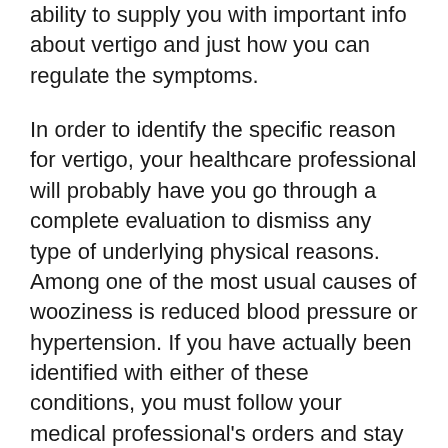ability to supply you with important info about vertigo and just how you can regulate the symptoms.
In order to identify the specific reason for vertigo, your healthcare professional will probably have you go through a complete evaluation to dismiss any type of underlying physical reasons. Among one of the most usual causes of wooziness is reduced blood pressure or hypertension. If you have actually been identified with either of these conditions, you must follow your medical professional's orders and stay with your normal medicine. By reducing your high blood pressure, your lightheadedness could be removed. However, your condition might call for therapy to reduce your high blood